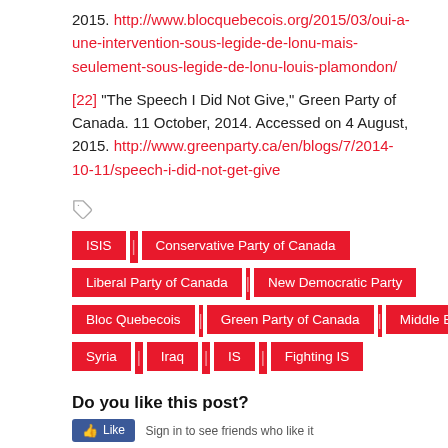2015. http://www.blocquebecois.org/2015/03/oui-a-une-intervention-sous-legide-de-lonu-mais-seulement-sous-legide-de-lonu-louis-plamondon/
[22] “The Speech I Did Not Give,” Green Party of Canada. 11 October, 2014. Accessed on 4 August, 2015. http://www.greenparty.ca/en/blogs/7/2014-10-11/speech-i-did-not-get-give
ISIS
Conservative Party of Canada
Liberal Party of Canada
New Democratic Party
Bloc Quebecois
Green Party of Canada
Middle East
Syria
Iraq
IS
Fighting IS
Do you like this post?